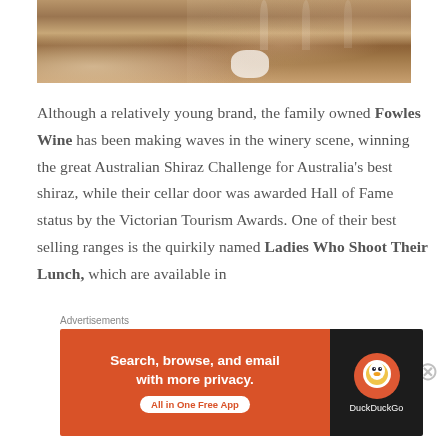[Figure (photo): A wooden board with charcuterie, a bowl of curry or stew, sauerkraut, and wine glasses in the background on a wooden table.]
Although a relatively young brand, the family owned Fowles Wine has been making waves in the winery scene, winning the great Australian Shiraz Challenge for Australia's best shiraz, while their cellar door was awarded Hall of Fame status by the Victorian Tourism Awards. One of their best selling ranges is the quirkily named Ladies Who Shoot Their Lunch, which are available in
Advertisements
[Figure (infographic): DuckDuckGo advertisement banner: orange left panel says 'Search, browse, and email with more privacy. All in One Free App' with a white button; dark right panel shows DuckDuckGo logo and name.]